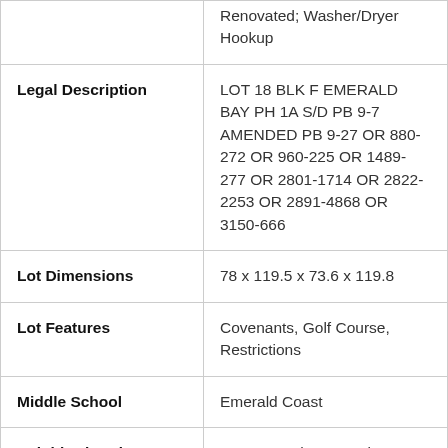| Field | Value |
| --- | --- |
|  | Renovated; Washer/Dryer Hookup |
| Legal Description | LOT 18 BLK F EMERALD BAY PH 1A S/D PB 9-7 AMENDED PB 9-27 OR 880-272 OR 960-225 OR 1489-277 OR 2801-1714 OR 2822-2253 OR 2891-4868 OR 3150-666 |
| Lot Dimensions | 78 x 119.5 x 73.6 x 119.8 |
| Lot Features | Covenants, Golf Course, Restrictions |
| Middle School | Emerald Coast |
| Neighborhood | 1501 - Southwest Walton North |
| Parking Features | Garage, Cover, Atta... |